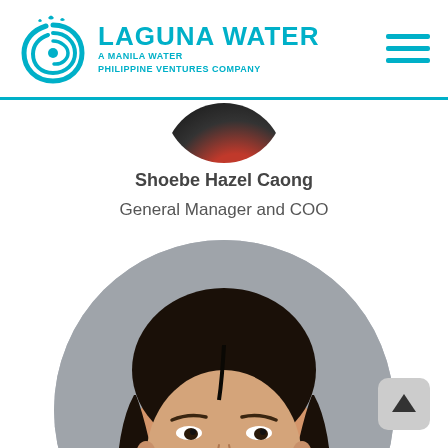[Figure (logo): Laguna Water logo — spiral wave icon in teal, with text LAGUNA WATER and subtitle A MANILA WATER PHILIPPINE VENTURES COMPANY]
[Figure (photo): Partial circular photo of previous person showing dark clothing with red accent, cropped at top of page section]
Shoebe Hazel Caong
General Manager and COO
[Figure (photo): Circular portrait photo of Shoebe Hazel Caong, a woman with long dark hair, smiling, against a grey background]
[Figure (other): Back to top button — grey rounded square with white upward arrow]